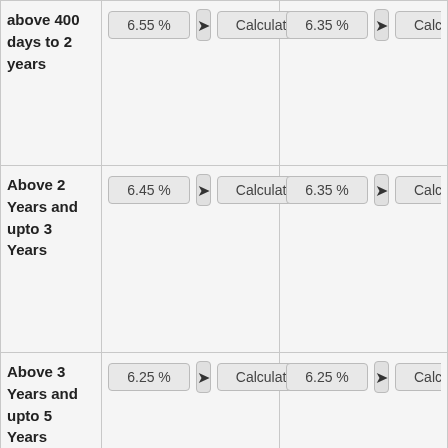| Term | Rate (Col1) | Arrow | Calculate | Rate (Col2) | Arrow | Calculate |
| --- | --- | --- | --- | --- | --- | --- |
| above 400 days to 2 years | 6.55 % | → | Calculate | 6.35 % | → | Calc |
| Above 2 Years and upto 3 Years | 6.45 % | → | Calculate | 6.35 % | → | Calc |
| Above 3 Years and upto 5 Years | 6.25 % | → | Calculate | 6.25 % | → | Calc |